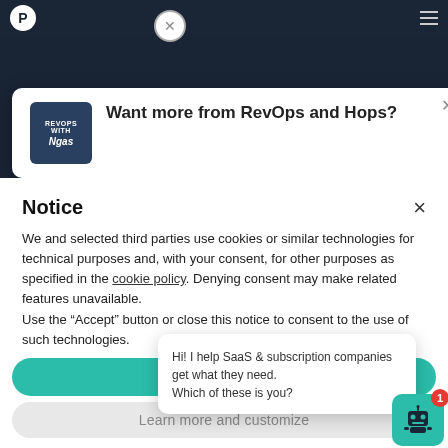RevOps and Hops logo | menu icon
[Figure (screenshot): Partially visible podcast popup showing RevOps and Ngas thumbnail image and title 'Want more from RevOps and Hops?']
Notice
We and selected third parties use cookies or similar technologies for technical purposes and, with your consent, for other purposes as specified in the cookie policy. Denying consent may make related features unavailable.
Use the “Accept” button or close this notice to consent to the use of such technologies.
Accept
Learn more and customize
Hi! I help SaaS & subscription companies get what they need. Which of these is you?
[Figure (illustration): Green robot chatbot icon with red badge showing number 1]